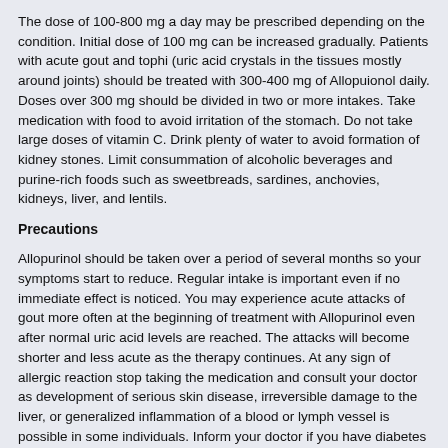The dose of 100-800 mg a day may be prescribed depending on the condition. Initial dose of 100 mg can be increased gradually. Patients with acute gout and tophi (uric acid crystals in the tissues mostly around joints) should be treated with 300-400 mg of Allopuionol daily. Doses over 300 mg should be divided in two or more intakes. Take medication with food to avoid irritation of the stomach. Do not take large doses of vitamin C. Drink plenty of water to avoid formation of kidney stones. Limit consummation of alcoholic beverages and purine-rich foods such as sweetbreads, sardines, anchovies, kidneys, liver, and lentils.
Precautions
Allopurinol should be taken over a period of several months so your symptoms start to reduce. Regular intake is important even if no immediate effect is noticed. You may experience acute attacks of gout more often at the beginning of treatment with Allopurinol even after normal uric acid levels are reached. The attacks will become shorter and less acute as the therapy continues. At any sign of allergic reaction stop taking the medication and consult your doctor as development of serious skin disease, irreversible damage to the liver, or generalized inflammation of a blood or lymph vessel is possible in some individuals. Inform your doctor if you have diabetes or kidney dysfunction before taking Allopurinol as correction of your dose is needed.
Contraindications